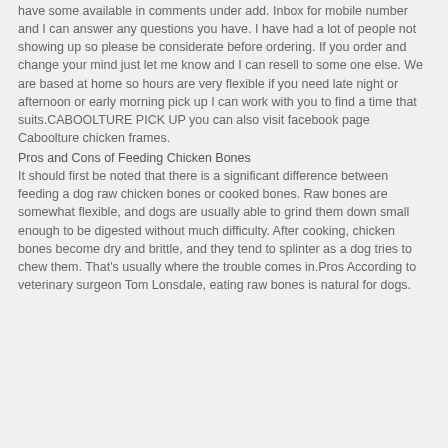have some available in comments under add. Inbox for mobile number and I can answer any questions you have. I have had a lot of people not showing up so please be considerate before ordering. If you order and change your mind just let me know and I can resell to some one else. We are based at home so hours are very flexible if you need late night or afternoon or early morning pick up I can work with you to find a time that suits.CABOOLTURE PICK UP you can also visit facebook page Caboolture chicken frames.
Pros and Cons of Feeding Chicken Bones
It should first be noted that there is a significant difference between feeding a dog raw chicken bones or cooked bones. Raw bones are somewhat flexible, and dogs are usually able to grind them down small enough to be digested without much difficulty. After cooking, chicken bones become dry and brittle, and they tend to splinter as a dog tries to chew them. That's usually where the trouble comes in.Pros According to veterinary surgeon Tom Lonsdale, eating raw bones is natural for dogs.